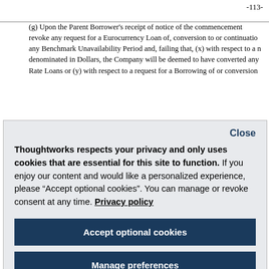-113-
(g) Upon the Parent Borrower's receipt of notice of the commencement revoke any request for a Eurocurrency Loan of, conversion to or continuation any Benchmark Unavailability Period and, failing that, (x) with respect to a denominated in Dollars, the Company will be deemed to have converted any Rate Loans or (y) with respect to a request for a Borrowing of or conversion
Close
Thoughtworks respects your privacy and only uses cookies that are essential for this site to function. If you enjoy our content and would like a personalized experience, please “Accept optional cookies”. You can manage or revoke consent at any time. Privacy policy
Accept optional cookies
Manage preferences